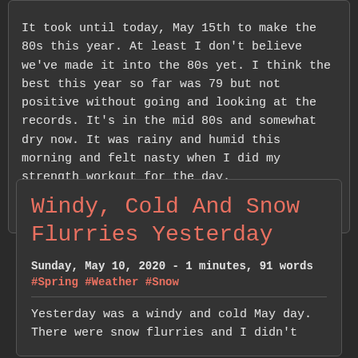It took until today, May 15th to make the 80s this year. At least I don't believe we've made it into the 80s yet. I think the best this year so far was 79 but not positive without going and looking at the records. It's in the mid 80s and somewhat dry now. It was rainy and humid this morning and felt nasty when I did my strength workout for the day.
Read more
Windy, Cold And Snow Flurries Yesterday
Sunday, May 10, 2020 - 1 minutes, 91 words
#Spring #Weather #Snow
Yesterday was a windy and cold May day. There were snow flurries and I didn't...